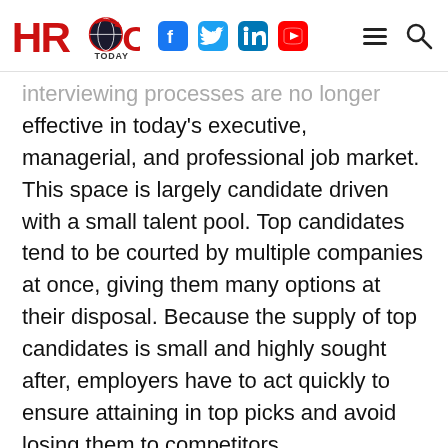HRO Today [logo with social icons: Facebook, Twitter, LinkedIn, YouTube, hamburger menu, search]
interviewing processes are no longer effective in today's executive, managerial, and professional job market. This space is largely candidate driven with a small talent pool. Top candidates tend to be courted by multiple companies at once, giving them many options at their disposal. Because the supply of top candidates is small and highly sought after, employers have to act quickly to ensure attaining in top picks and avoid losing them to competitors.